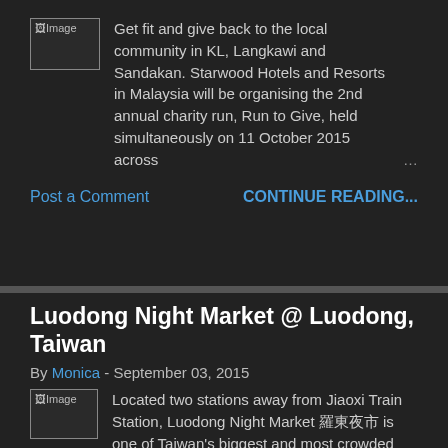Get fit and give back to the local community in KL, Langkawi and Sandakan. Starwood Hotels and Resorts in Malaysia will be organising the 2nd annual charity run, Run to Give, held simultaneously on 11 October 2015 across ...
Post a Comment
CONTINUE READING...
Luodong Night Market @ Luodong, Taiwan
By Monica - September 03, 2015
Located two stations away from Jiaoxi Train Station, Luodong Night Market 羅東夜市 is one of Taiwan's biggest and most crowded night market.